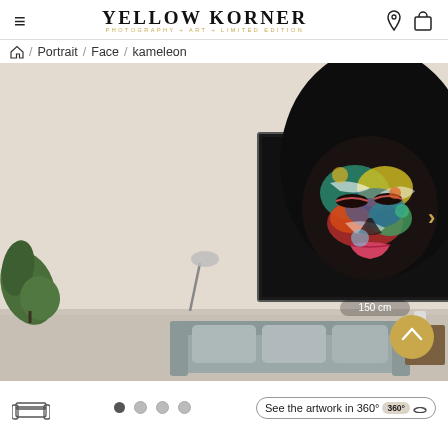YELLOW KORNER — PHOTOGRAPHY + ART + LIMITED EDITION
Home / Portrait / Face / kameleon
[Figure (photo): Room scene with a colorful portrait photograph of a woman's face covered in multicolored paint, displayed on a beige wall above a gray sofa, with a plant on the left. Size indicator shows 150 cm.]
See the artwork in 360° 360°